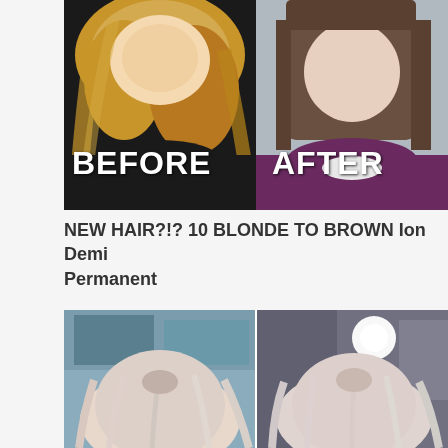[Figure (photo): Before and after comparison photo showing a woman with blonde wavy hair (BEFORE) on the left and a woman with straight dark brown hair (AFTER) on the right, with bold white text labels]
NEW HAIR?!? 10 BLONDE TO BROWN Ion Demi Permanent
[Figure (photo): Two side-by-side photos showing the back of a person's head with light blonde/pink-toned hair]